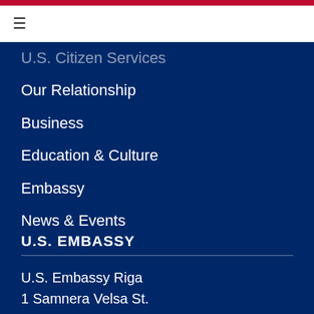☰
U.S. Citizen Services
Our Relationship
Business
Education & Culture
Embassy
News & Events
Privacy
Sitemap
U.S. EMBASSY
U.S. Embassy Riga
1 Samnera Velsa St.
Riga LV-1510